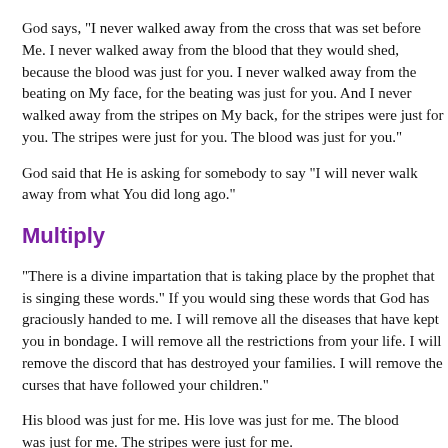God says, "I never walked away from the cross that was set before Me. I never walked away from the blood that they would shed, because the blood was just for you. I never walked away from the beating on My face, for the beating was just for you. And I never walked away from the stripes on My back, for the stripes were just for you. The stripes were just for you. The blood was just for you."
God said that He is asking for somebody to say "I will never walk away from what You did long ago."
Multiply
"There is a divine impartation that is taking place by the prophet that is singing these words." If you would sing these words that God has graciously handed to me. I will remove all the diseases that have kept you in bondage. I will remove all the restrictions from your life. I will remove the discord that has destroyed your families. I will remove the curses that have followed your children."
His blood was just for me. His love was just for me. The blood was just for me. The stripes were just for me.
The Spirit of the Lord told me, "There is going to be a mantle that is placed on you." I was told to prepare a list of 26 people to prepare a word to give to them.